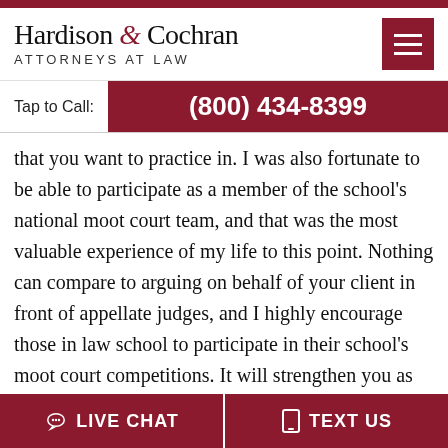[Figure (logo): Hardison & Cochran Attorneys at Law logo with hamburger menu button]
Tap to Call: (800) 434-8399
that you want to practice in. I was also fortunate to be able to participate as a member of the school's national moot court team, and that was the most valuable experience of my life to this point. Nothing can compare to arguing on behalf of your client in front of appellate judges, and I highly encourage those in law school to participate in their school's moot court competitions. It will strengthen you as both a person and a future
LIVE CHAT   TEXT US